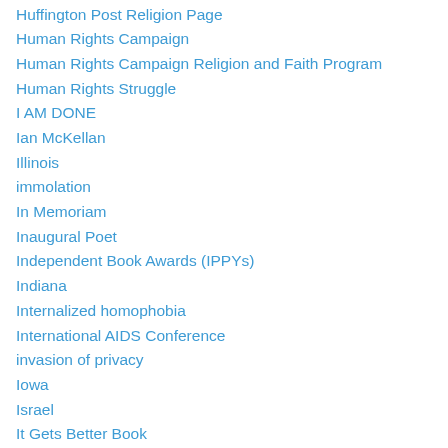Huffington Post Religion Page
Human Rights Campaign
Human Rights Campaign Religion and Faith Program
Human Rights Struggle
I AM DONE
Ian McKellan
Illinois
immolation
In Memoriam
Inaugural Poet
Independent Book Awards (IPPYs)
Indiana
Internalized homophobia
International AIDS Conference
invasion of privacy
Iowa
Israel
It Gets Better Book
It Gets Better Project
It Gets Better Project (IGBP)